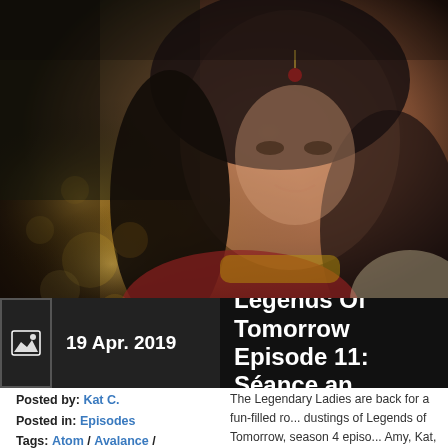[Figure (photo): A woman wearing traditional Indian bridal attire including a maang tikka (head jewelry), elaborate gold necklace, and red and gold clothing. She has long dark hair and is smiling. The background is blurred with warm bokeh lights.]
19 Apr. 2019 Legends Of Tomorrow Episode 11: Séance an
Posted by: Kat C.
Posted in: Episodes
Tags: Atom / Avalance / Bollywood / Charlie /
The Legendary Ladies are back for a fun-filled ro... dustings of Legends of Tomorrow, season 4 episo... Amy, Kat, and Morgan explore the best part of th... sincerity, and explore the power behind the lyrics...